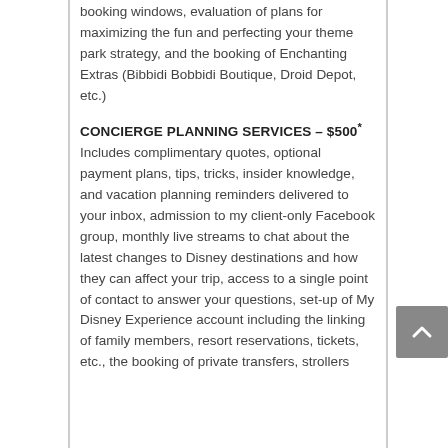booking windows, evaluation of plans for maximizing the fun and perfecting your theme park strategy, and the booking of Enchanting Extras (Bibbidi Bobbidi Boutique, Droid Depot, etc.)
CONCIERGE PLANNING SERVICES – $500*
Includes complimentary quotes, optional payment plans, tips, tricks, insider knowledge, and vacation planning reminders delivered to your inbox, admission to my client-only Facebook group, monthly live streams to chat about the latest changes to Disney destinations and how they can affect your trip, access to a single point of contact to answer your questions, set-up of My Disney Experience account including the linking of family members, resort reservations, tickets, etc., the booking of private transfers, strollers